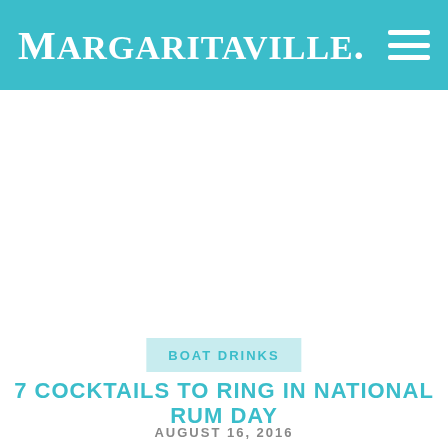MARGARITAVILLE
BOAT DRINKS
7 COCKTAILS TO RING IN NATIONAL RUM DAY
AUGUST 16, 2016